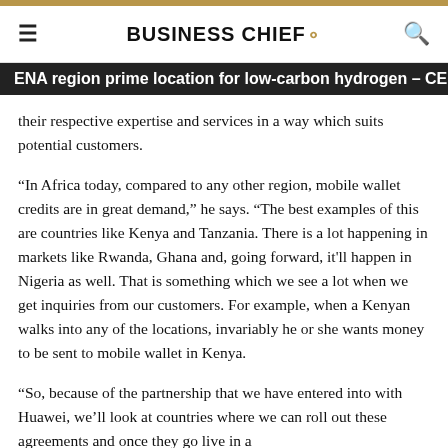BUSINESS CHIEF.
ENA region prime location for low-carbon hydrogen – CEBC
their respective expertise and services in a way which suits potential customers.
“In Africa today, compared to any other region, mobile wallet credits are in great demand,” he says. “The best examples of this are countries like Kenya and Tanzania. There is a lot happening in markets like Rwanda, Ghana and, going forward, it'll happen in Nigeria as well. That is something which we see a lot when we get inquiries from our customers. For example, when a Kenyan walks into any of the locations, invariably he or she wants money to be sent to mobile wallet in Kenya.
“So, because of the partnership that we have entered into with Huawei, we’ll look at countries where we can roll out these agreements and once they go live in a